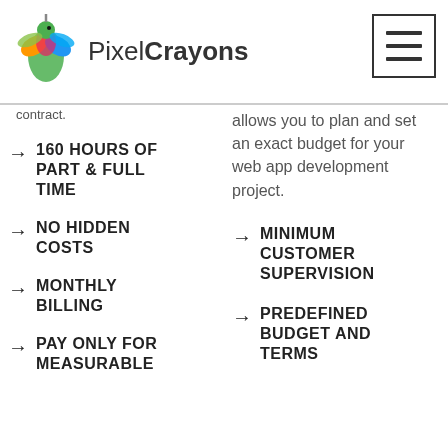PixelCrayons
contract.
allows you to plan and set an exact budget for your web app development project.
160 HOURS OF PART & FULL TIME
NO HIDDEN COSTS
MONTHLY BILLING
PAY ONLY FOR MEASURABLE
MINIMUM CUSTOMER SUPERVISION
PREDEFINED BUDGET AND TERMS